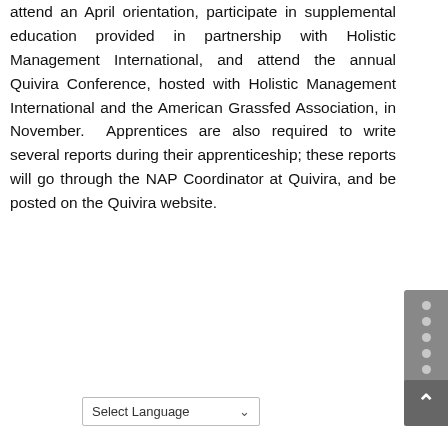attend an April orientation, participate in supplemental education provided in partnership with Holistic Management International, and attend the annual Quivira Conference, hosted with Holistic Management International and the American Grassfed Association, in November.  Apprentices are also required to write several reports during their apprenticeship; these reports will go through the NAP Coordinator at Quivira, and be posted on the Quivira website.
Select Language